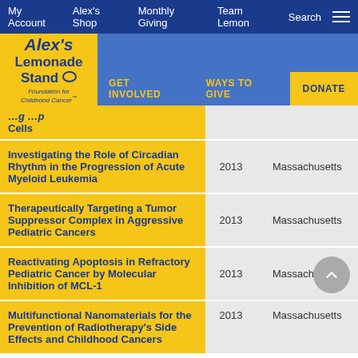My Account   Alex's Shop   Monthly Giving   Team Lemon   Search
[Figure (logo): Alex's Lemonade Stand Foundation for Childhood Cancer logo with navigation bar including GET INVOLVED, WAYS TO GIVE, DONATE]
| Title | Year | State |
| --- | --- | --- |
| [...]g [...] p Cells | 2013 |  |
| Investigating the Role of Circadian Rhythm in the Progression of Acute Myeloid Leukemia | 2013 | Massachusetts |
| Therapeutically Targeting a Tumor Suppressor Complex in Aggressive Pediatric Cancers | 2013 | Massachusetts |
| Reactivating Apoptosis in Refractory Pediatric Cancer by Molecular Inhibition of MCL-1 | 2013 | Massachusetts |
| Multifunctional Nanomaterials for the Prevention of Radiotherapy's Side Effects and Childhood Cancers | 2013 | Massachusetts |